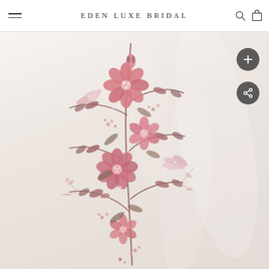EDEN LUXE BRIDAL
[Figure (photo): Close-up of a white bridal fabric with pink floral embroidery featuring flowers, leaves, and beaded details on a soft ivory tulle background. Two dark circular buttons overlay the right side: one with a plus icon and one with a share icon.]